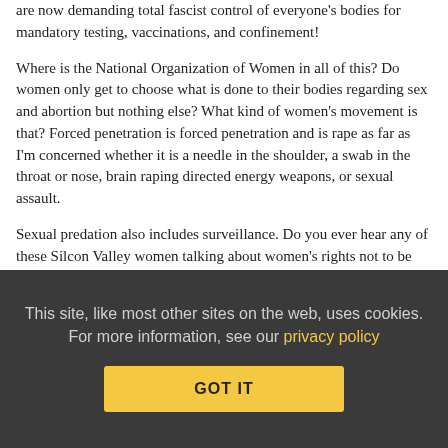are now demanding total fascist control of everyone's bodies for mandatory testing, vaccinations, and confinement!
Where is the National Organization of Women in all of this? Do women only get to choose what is done to their bodies regarding sex and abortion but nothing else? What kind of women's movement is that? Forced penetration is forced penetration and is rape as far as I'm concerned whether it is a needle in the shoulder, a swab in the throat or nose, brain raping directed energy weapons, or sexual assault.
Sexual predation also includes surveillance. Do you ever hear any of these Silcon Valley women talking about women's rights not to be surveilled which endangers our lives and property?
No, in fact there was a female physician on Loud and Clear with John Kiriakou and Brian Becker today advocating for cell phone surveilllance of coronavirus victims. Producer Nicole Rousell is a
This site, like most other sites on the web, uses cookies. For more information, see our privacy policy
GOT IT